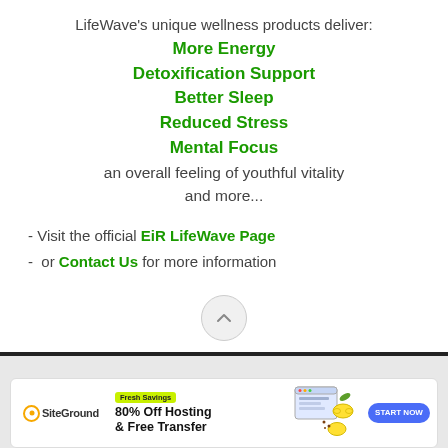LifeWave's unique wellness products deliver:
More Energy
Detoxification Support
Better Sleep
Reduced Stress
Mental Focus
an overall feeling of youthful vitality and more...
- Visit the official EiR LifeWave Page
-  or Contact Us for more information
[Figure (illustration): SiteGround advertisement banner: Fresh Savings - 80% Off Hosting & Free Transfer with Start Now button and lemon/cookie illustration]